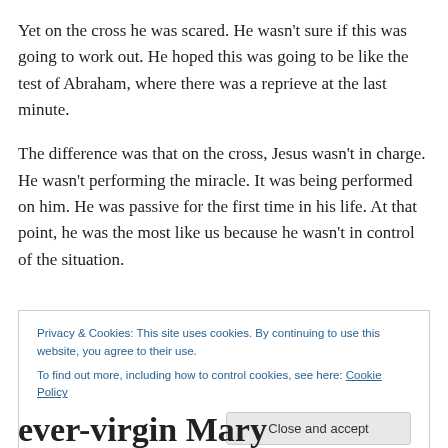Yet on the cross he was scared. He wasn't sure if this was going to work out. He hoped this was going to be like the test of Abraham, where there was a reprieve at the last minute.
The difference was that on the cross, Jesus wasn't in charge. He wasn't performing the miracle. It was being performed on him. He was passive for the first time in his life. At that point, he was the most like us because he wasn't in control of the situation.
Privacy & Cookies: This site uses cookies. By continuing to use this website, you agree to their use. To find out more, including how to control cookies, see here: Cookie Policy
ever-virgin Mary